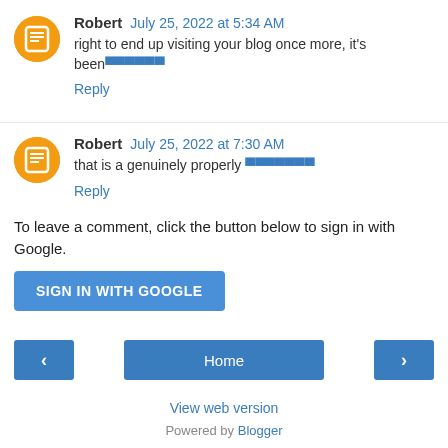Robert July 25, 2022 at 5:34 AM — right to end up visiting your blog once more, it's been [blocked chars]
Reply
Robert July 25, 2022 at 7:30 AM — that is a genuinely properly [blocked chars]
Reply
To leave a comment, click the button below to sign in with Google.
SIGN IN WITH GOOGLE
< Home >
View web version
Powered by Blogger